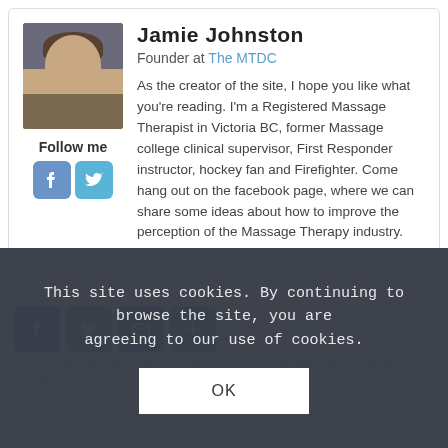[Figure (photo): Profile photo of Jamie Johnston, a man in a brown jacket, smiling]
Follow me
[Figure (other): Facebook and Twitter social icon buttons]
Jamie Johnston
Founder at The MTDC
As the creator of the site, I hope you like what you're reading. I'm a Registered Massage Therapist in Victoria BC, former Massage college clinical supervisor, First Responder instructor, hockey fan and Firefighter. Come hang out on the facebook page, where we can share some ideas about how to improve the perception of the Massage Therapy industry.
[Figure (other): Share buttons: Facebook, Twitter, Email, Plus]
Tags: Massage, Registered Massage Therapist, Massage Therapy, podcast
This site uses cookies. By continuing to browse the site, you are agreeing to our use of cookies.
OK